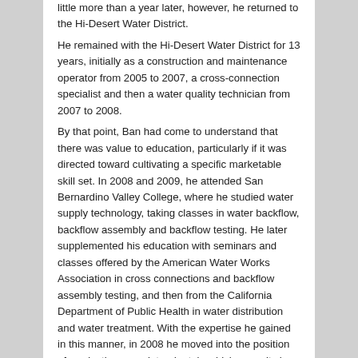little more than a year later, however, he returned to the Hi-Desert Water District. He remained with the Hi-Desert Water District for 13 years, initially as a construction and maintenance operator from 2005 to 2007, a cross-connection specialist and then a water quality technician from 2007 to 2008. By that point, Ban had come to understand that there was value to education, particularly if it was directed toward cultivating a specific marketable skill set. In 2008 and 2009, he attended San Bernardino Valley College, where he studied water supply technology, taking classes in water backflow, backflow assembly and backflow testing. He later supplemented his education with seminars and classes offered by the American Water Works Association in cross connections and backflow assembly testing, and then from the California Department of Public Health in water distribution and water treatment. With the expertise he gained in this manner, in 2008 he moved into the position of production superintendent, in which capacity he remained until 2010. In March 2010, he was promoted to director of operations for the district. In March 2013, he